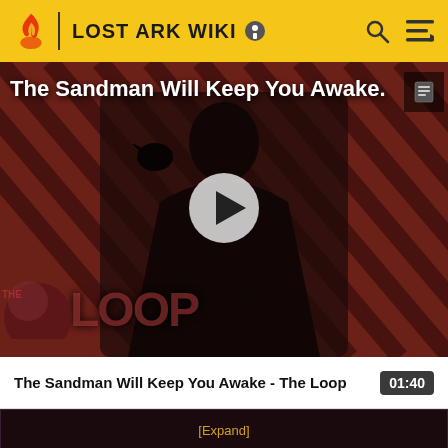LOST ARK WIKI
[Figure (screenshot): Video thumbnail showing a dark-caped figure with a raven, diagonal striped red-brown background, 'THE LOOP' logo overlay, and a play button in the center. Text overlay reads 'The Sandman Will Keep You Awake.']
The Sandman Will Keep You Awake - The Loop  01:40
| Icon | Name | Description | Stars | Reward |
| --- | --- | --- | --- | --- |
| [Expand] |  |  |  |  |
| [quest icon] | Workaholic | Gain Bastian's Trust - 0/1 | ★★★ | XP |